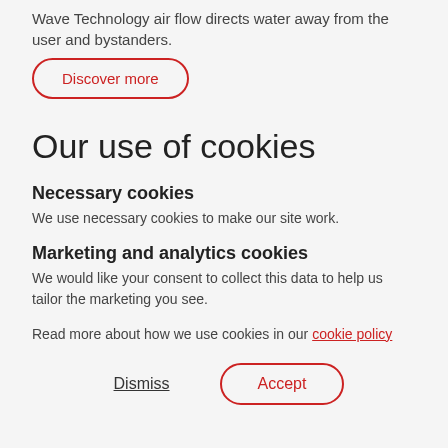Wave Technology air flow directs water away from the user and bystanders.
Discover more
Our use of cookies
Necessary cookies
We use necessary cookies to make our site work.
Marketing and analytics cookies
We would like your consent to collect this data to help us tailor the marketing you see.
Read more about how we use cookies in our cookie policy
Dismiss
Accept